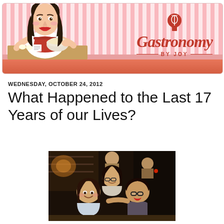[Figure (illustration): Gastronomy by Joy blog header banner with cartoon character of a woman cooking, pink striped background, coral/salmon bottom bar, and cursive logo text with hot air balloon icon]
WEDNESDAY, OCTOBER 24, 2012
What Happened to the Last 17 Years of our Lives?
[Figure (photo): Three young Asian women posing together at a restaurant, smiling at the camera. Dark restaurant interior visible in background with bar shelving and dim lighting.]